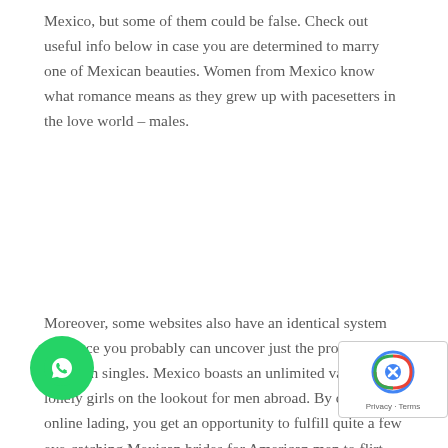Mexico, but some of them could be false. Check out useful info below in case you are determined to marry one of Mexican beauties. Women from Mexico know what romance means as they grew up with pacesetters in the love world – males.
Moreover, some websites also have an identical system the place you probably can uncover just the proper Mexican singles. Mexico boasts an unlimited variety of lonely girls on the lookout for men abroad. By choosing online lading, you get an opportunity to fulfill quite a few eye-catching Mexican brides for American men to flirt and create a long-lasting connection. Just choose a good dating website, fill out a portfolio and luriate in one of the best mail order bride ce.